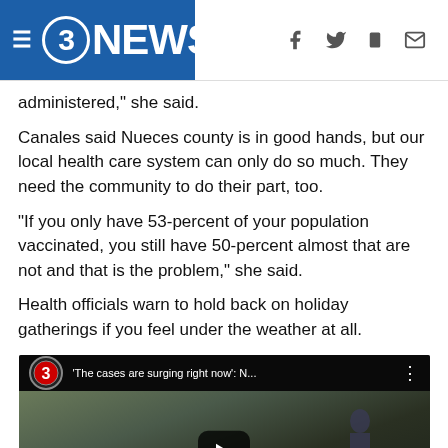3NEWS
administered," she said.
Canales said Nueces county is in good hands, but our local health care system can only do so much. They need the community to do their part, too.
"If you only have 53-percent of your population vaccinated, you still have 50-percent almost that are not and that is the problem," she said.
Health officials warn to hold back on holiday gatherings if you feel under the weather at all.
[Figure (screenshot): Video thumbnail showing '3NEWS' logo and title bar reading 'The cases are surging right now': N... with a news scene in the background featuring red traffic cones and a play button overlay.]